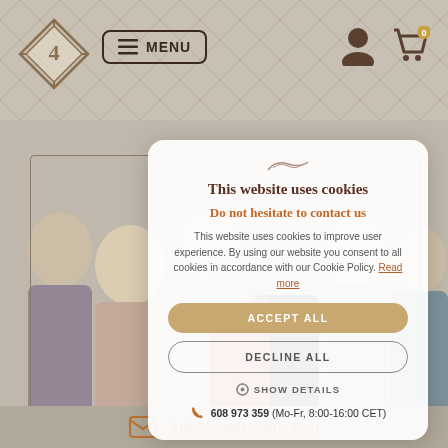[Figure (screenshot): Website navigation bar with diamond-shaped logo with number 4, MENU button, user icon and cart icon with badge 0]
[Figure (photo): Group photo of approximately 7 people smiling, background behind cookie consent modal]
This website uses cookies
Do not hesitate to contact us
This website uses cookies to improve user experience. By using our website you consent to all cookies in accordance with our Cookie Policy. Read more
ACCEPT ALL
DECLINE ALL
SHOW DETAILS
608 973 359 (Mo-Fr, 8:00-16:00 CET)
info@outfit4events.com